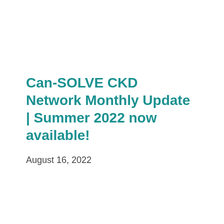Can-SOLVE CKD Network Monthly Update | Summer 2022 now available!
August 16, 2022